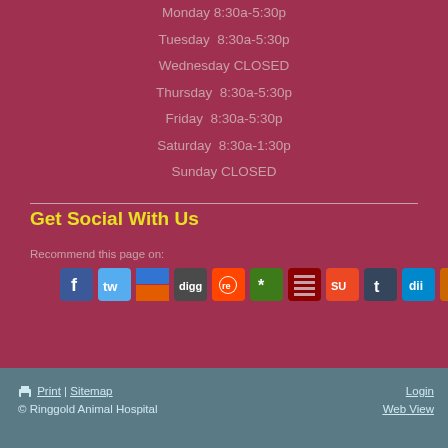Monday  8:30a-5:30p
Tuesday  8:30a-5:30p
Wednesday CLOSED
Thursday  8:30a-5:30p
Friday  8:30a-5:30p
Saturday  8:30a-1:30p
Sunday CLOSED
Get Social With Us
Recommend this page on:
[Figure (other): Row of social media sharing icons: Facebook, Twitter, Delicious, Digg, Reddit, and others]
Print | Sitemap  Login  © Ringgold Animal Hospital  Web View